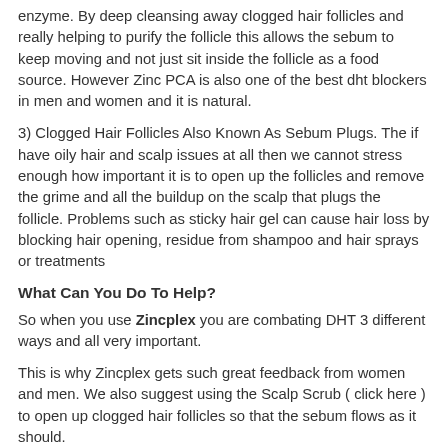enzyme. By deep cleansing away clogged hair follicles and really helping to purify the follicle this allows the sebum to keep moving and not just sit inside the follicle as a food source. However Zinc PCA is also one of the best dht blockers in men and women and it is natural.
3) Clogged Hair Follicles Also Known As Sebum Plugs. The if have oily hair and scalp issues at all then we cannot stress enough how important it is to open up the follicles and remove the grime and all the buildup on the scalp that plugs the follicle. Problems such as sticky hair gel can cause hair loss by blocking hair opening, residue from shampoo and hair sprays or treatments
What Can You Do To Help?
So when you use Zincplex you are combating DHT 3 different ways and all very important.
This is why Zincplex gets such great feedback from women and men. We also suggest using the Scalp Scrub ( click here ) to open up clogged hair follicles so that the sebum flows as it should.